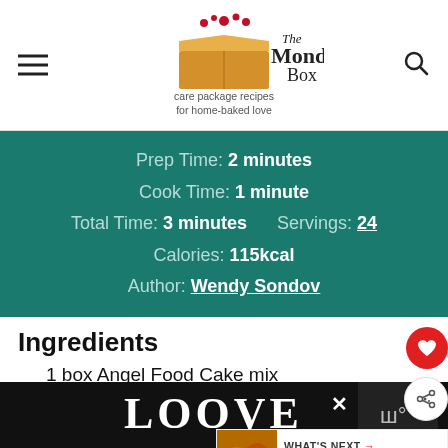[Figure (logo): The Monday Box logo with a box graphic and tagline 'care package recipes for home-baked love']
Prep Time: 2 minutes
Cook Time: 1 minute
Total Time: 3 minutes   Servings: 24
Calories: 115kcal
Author: Wendy Sondov
Ingredients
1 box Angel Food Cake mix
1 box yellow cake mix
Non-stick spray if not using disposable cups